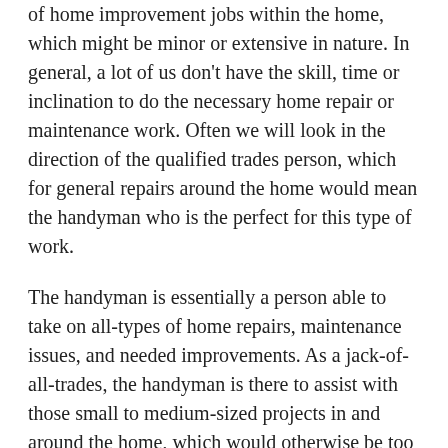of home improvement jobs within the home, which might be minor or extensive in nature. In general, a lot of us don't have the skill, time or inclination to do the necessary home repair or maintenance work. Often we will look in the direction of the qualified trades person, which for general repairs around the home would mean the handyman who is the perfect for this type of work.
The handyman is essentially a person able to take on all-types of home repairs, maintenance issues, and needed improvements. As a jack-of-all-trades, the handyman is there to assist with those small to medium-sized projects in and around the home, which would otherwise be too small for a commercial builder or contractor to take on.
Deciding on the right handyman is always a vital decision. It often helps if you're able to hire a worker who offers an